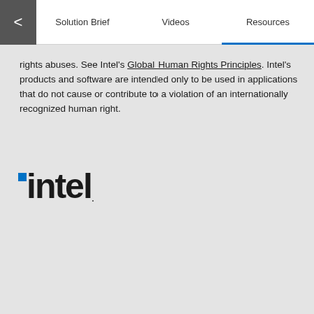Solution Brief | Videos | Resources
rights abuses. See Intel's Global Human Rights Principles. Intel's products and software are intended only to be used in applications that do not cause or contribute to a violation of an internationally recognized human right.
[Figure (logo): Intel logo with blue square dot and bold black 'intel.' wordmark]